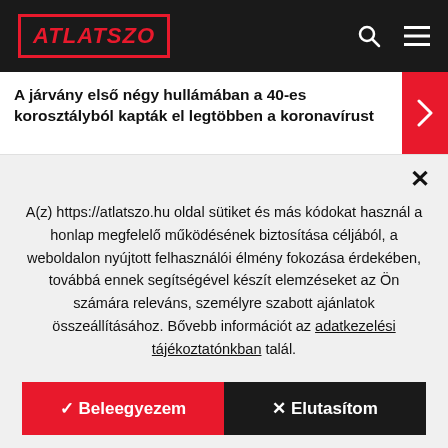ATLATSZO
A járvány első négy hullámában a 40-es korosztályból kapták el legtöbben a koronavírust
A(z) https://atlatszo.hu oldal sütiket és más kódokat használ a honlap megfelelő működésének biztosítása céljából, a weboldalon nyújtott felhasználói élmény fokozása érdekében, továbbá ennek segítségével készít elemzéseket az Ön számára releváns, személyre szabott ajánlatok összeállításához. Bővebb információt az adatkezelési tájékoztatónkban talál.